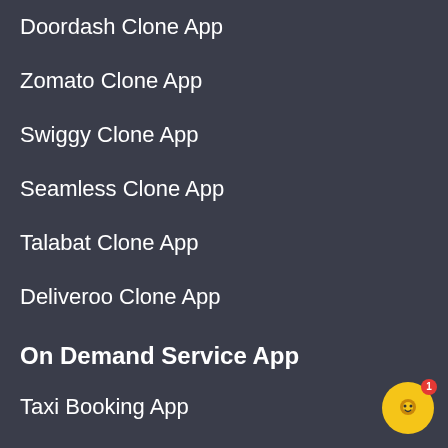Doordash Clone App
Zomato Clone App
Swiggy Clone App
Seamless Clone App
Talabat Clone App
Deliveroo Clone App
On Demand Service App
Taxi Booking App
Courier Delivery App
Grocery Delivery App
Food Delivery App
Pharmacy Delivery App
[Figure (screenshot): Chat popup widget with message: Hi! 👋 Looking for complete Web or App solutions? Then let's talk about! If we don't reply within a minute.]